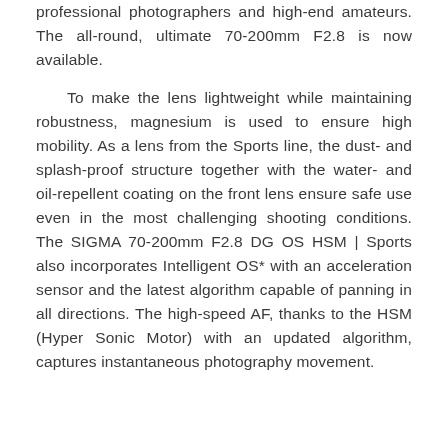professional photographers and high-end amateurs. The all-round, ultimate 70-200mm F2.8 is now available.

To make the lens lightweight while maintaining robustness, magnesium is used to ensure high mobility. As a lens from the Sports line, the dust- and splash-proof structure together with the water- and oil-repellent coating on the front lens ensure safe use even in the most challenging shooting conditions. The SIGMA 70-200mm F2.8 DG OS HSM | Sports also incorporates Intelligent OS* with an acceleration sensor and the latest algorithm capable of panning in all directions. The high-speed AF, thanks to the HSM (Hyper Sonic Motor) with an updated algorithm, captures instantaneous photography movement.